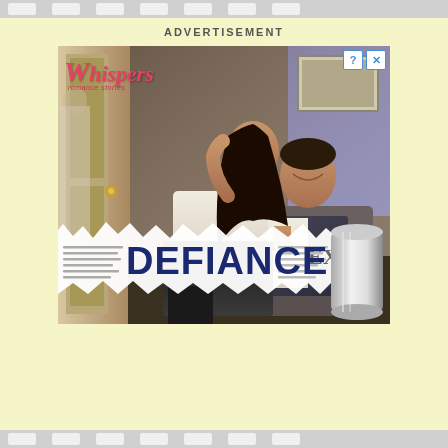ADVERTISEMENT
[Figure (illustration): Advertisement for 'Whispers' romance stories app featuring the story 'Defiance'. Shows a couple in an intimate embrace in an office setting, with a woman in a black dress and a man in a suit. The Whispers logo appears in the top left, and 'DEFIANCE' is displayed on a torn newspaper banner across the bottom of the image. There are close and info buttons in the top right corner of the ad.]